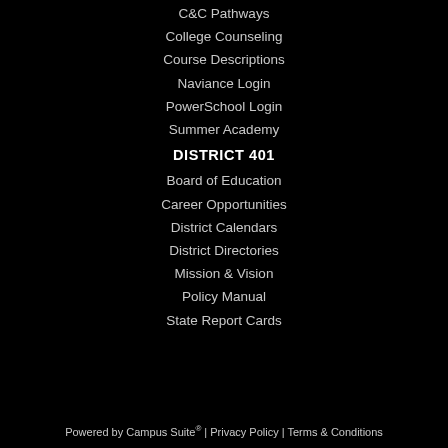C&C Pathways
College Counseling
Course Descriptions
Naviance Login
PowerSchool Login
Summer Academy
DISTRICT 401
Board of Education
Career Opportunities
District Calendars
District Directories
Mission & Vision
Policy Manual
State Report Cards
Powered by Campus Suite® | Privacy Policy | Terms & Conditions